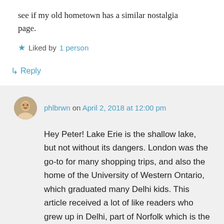see if my old hometown has a similar nostalgia page.
Liked by 1 person
↳ Reply
phlbrwn on April 2, 2018 at 12:00 pm
Hey Peter! Lake Erie is the shallow lake, but not without its dangers. London was the go-to for many shopping trips, and also the home of the University of Western Ontario, which graduated many Delhi kids. This article received a lot of like readers who grew up in Delhi, part of Norfolk which is the relatively undiscovered gem of